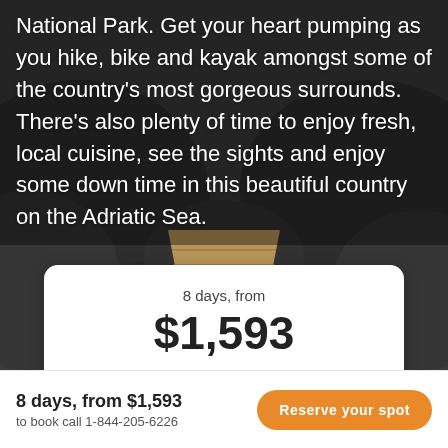[Figure (photo): Dark rocky landscape with a wooden pathway leading into the distance, used as a background image behind overlaid text]
National Park. Get your heart pumping as you hike, bike and kayak amongst some of the country's most gorgeous surrounds. There's also plenty of time to enjoy fresh, local cuisine, see the sights and enjoy some down time in this beautiful country on the Adriatic Sea.
8 days, from
$1,593
per person
8 days, from $1,593
to book call 1-844-205-6226